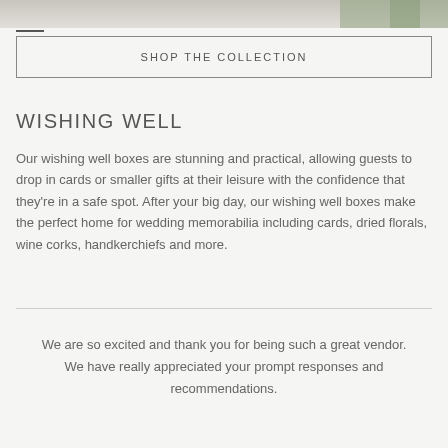[Figure (photo): Partial top image showing a table or surface with greenery/plant, cropped at top of page]
SHOP THE COLLECTION
WISHING WELL
Our wishing well boxes are stunning and practical, allowing guests to drop in cards or smaller gifts at their leisure with the confidence that they're in a safe spot. After your big day, our wishing well boxes make the perfect home for wedding memorabilia including cards, dried florals, wine corks, handkerchiefs and more.
We are so excited and thank you for being such a great vendor. We have really appreciated your prompt responses and recommendations.